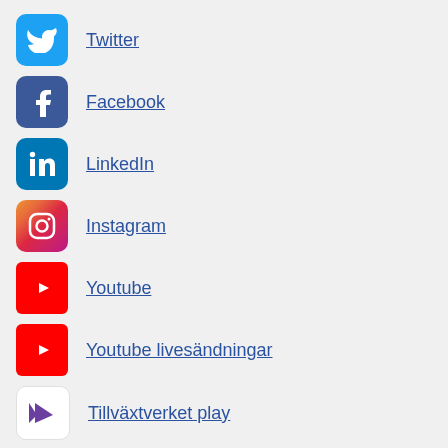Twitter
Facebook
LinkedIn
Instagram
Youtube
Youtube livesändningar
Tillväxtverket play